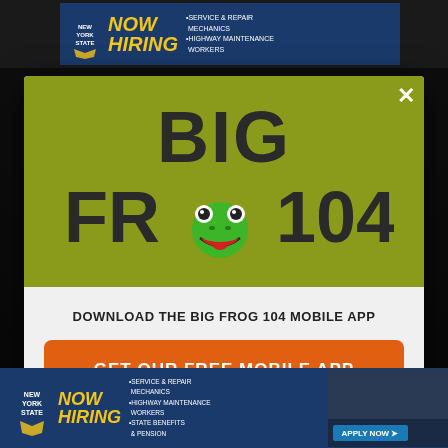[Figure (screenshot): Top New York State NOW HIRING advertisement banner (partially visible behind modal)]
[Figure (logo): Big Frog 104 radio station logo on olive/yellow-green background. Large bold text 'BIG FROG 104' with cartoon frog face replacing the letter O in FROG.]
DOWNLOAD THE BIG FROG 104 MOBILE APP
GET OUR FREE MOBILE APP
Also listen on:  amazon alexa
[Figure (screenshot): Bottom New York State NOW HIRING advertisement banner with logo, NOW HIRING text, bullet points for Service & Repair Mechanics, Highway Maintenance Workers, State Benefits & Pension, and APPLY NOW button]